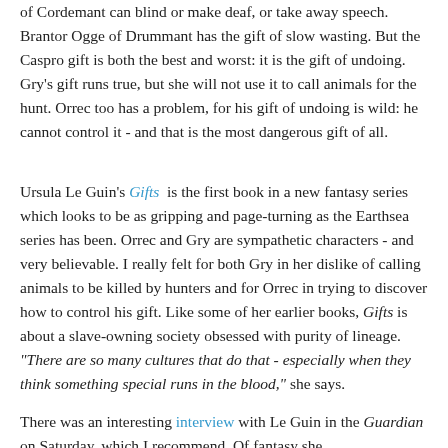of Cordemant can blind or make deaf, or take away speech. Brantor Ogge of Drummant has the gift of slow wasting. But the Caspro gift is both the best and worst: it is the gift of undoing. Gry's gift runs true, but she will not use it to call animals for the hunt. Orrec too has a problem, for his gift of undoing is wild: he cannot control it - and that is the most dangerous gift of all.
Ursula Le Guin's Gifts is the first book in a new fantasy series which looks to be as gripping and page-turning as the Earthsea series has been. Orrec and Gry are sympathetic characters - and very believable. I really felt for both Gry in her dislike of calling animals to be killed by hunters and for Orrec in trying to discover how to control his gift. Like some of her earlier books, Gifts is about a slave-owning society obsessed with purity of lineage. "There are so many cultures that do that - especially when they think something special runs in the blood," she says.
There was an interesting interview with Le Guin in the Guardian on Saturday, which I recommend. Of fantasy she